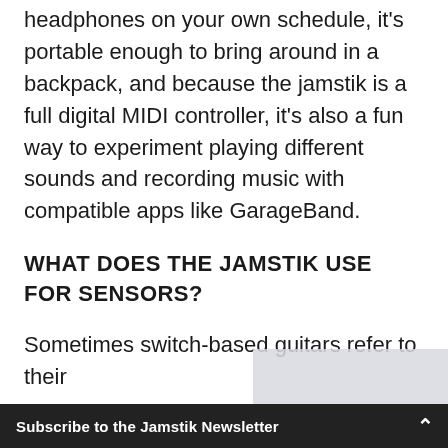headphones on your own schedule, it's portable enough to bring around in a backpack, and because the jamstik is a full digital MIDI controller, it's also a fun way to experiment playing different sounds and recording music with compatible apps like GarageBand.
WHAT DOES THE JAMSTIK USE FOR SENSORS?
Sometimes switch-based guitars refer to their
Subscribe to the Jamstik Newsletter